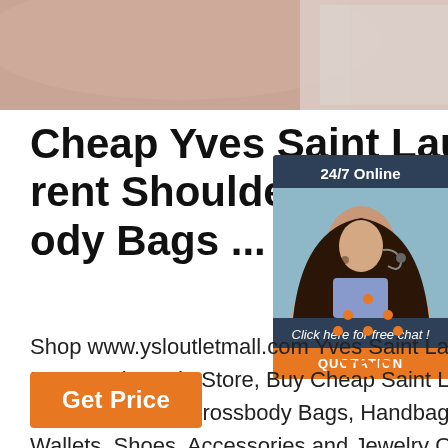[Figure (photo): Top banner photo showing a close-up of fabric/cloth with pinkish-beige tones]
Cheap Yves Saint Laurent Shoulder Bags, Crossbody Bags ...
[Figure (infographic): Live chat widget showing a customer service representative with headset, text '24/7 Online', 'Click here for free chat!', and an orange 'QUOTATION' button]
Shop www.ysloutletmall.com Yves Saint Laurent Bags Outlet Sale Store, Buy Cheap Saint Laurent Shoulder Bags, Crossbody Bags, Handbags, Wallets, Shoes, Accessories and Jewelry On Sale with Big Discount, Fast Delivery and Free Shipping...
[Figure (illustration): Orange 'TOP' button with dotted triangle arrow above it]
[Figure (other): Orange 'Get Price' button]